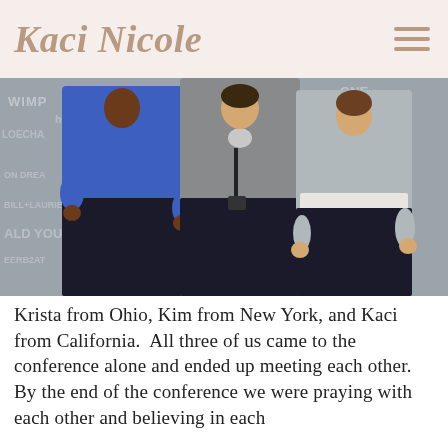Kaci Nicole
[Figure (photo): Three women standing in front of a word/text backdrop at a conference. The woman on the left wears a blue zip-up jacket and black pants. The woman in the middle wears a gray top and black pants with a necklace and lanyard. The woman on the right wears a gray cardigan with a white lace underlayer and black pants.]
Krista from Ohio, Kim from New York, and Kaci from California.  All three of us came to the conference alone and ended up meeting each other.  By the end of the conference we were praying with each other and believing in each